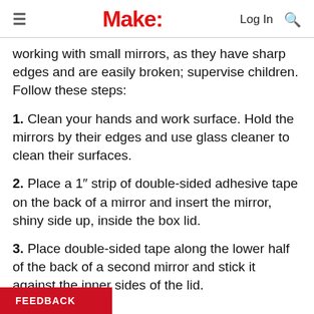Make:
working with small mirrors, as they have sharp edges and are easily broken; supervise children. Follow these steps:
1. Clean your hands and work surface. Hold the mirrors by their edges and use glass cleaner to clean their surfaces.
2. Place a 1" strip of double-sided adhesive tape on the back of a mirror and insert the mirror, shiny side up, inside the box lid.
3. Place double-sided tape along the lower half of the back of a second mirror and stick it against the inner sides of the lid.
FEEDBACK